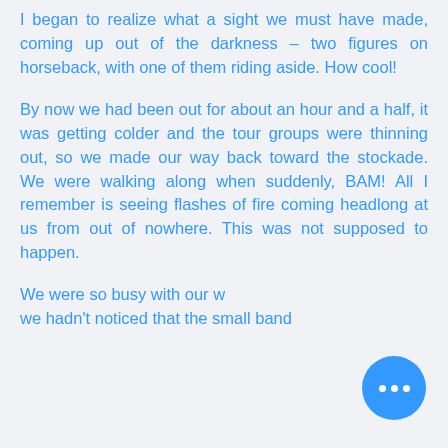I began to realize what a sight we must have made, coming up out of the darkness – two figures on horseback, with one of them riding aside. How cool!
By now we had been out for about an hour and a half, it was getting colder and the tour groups were thinning out, so we made our way back toward the stockade. We were walking along when suddenly, BAM! All I remember is seeing flashes of fire coming headlong at us from out of nowhere. This was not supposed to happen.
We were so busy with our w... we hadn't noticed that the small band